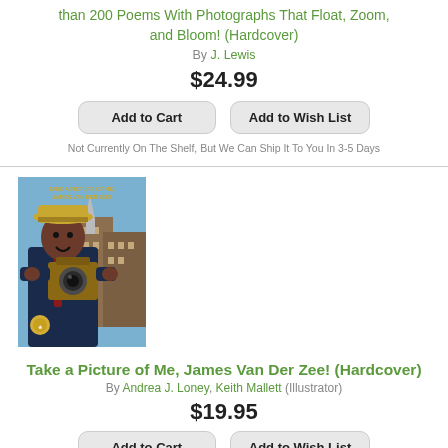than 200 Poems With Photographs That Float, Zoom, and Bloom! (Hardcover)
By J. Lewis
$24.99
Add to Cart
Add to Wish List
Not Currently On The Shelf, But We Can Ship It To You In 3-5 Days
[Figure (illustration): Book cover of 'Take a Picture of Me, James Van Der Zee!' showing an illustrated man in a hat and suit holding a vintage camera, with city buildings in the background and a gold medal on the cover.]
Take a Picture of Me, James Van Der Zee! (Hardcover)
By Andrea J. Loney, Keith Mallett (Illustrator)
$19.95
Add to Cart
Add to Wish List